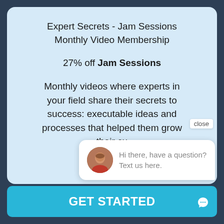Expert Secrets - Jam Sessions Monthly Video Membership
27% off Jam Sessions
Monthly videos where experts in your field share their secrets to success: executable ideas and processes that helped them grow their cu
close
Hi there, have a question? Text us here.
GET STARTED